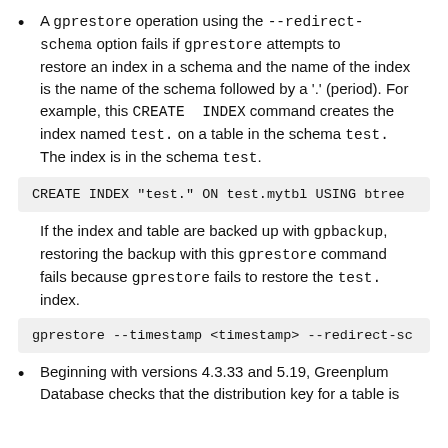A gprestore operation using the --redirect-schema option fails if gprestore attempts to restore an index in a schema and the name of the index is the name of the schema followed by a '.' (period). For example, this CREATE  INDEX command creates the index named test. on a table in the schema test. The index is in the schema test.
CREATE INDEX "test." ON test.mytbl USING btree
If the index and table are backed up with gpbackup, restoring the backup with this gprestore command fails because gprestore fails to restore the test. index.
gprestore --timestamp <timestamp> --redirect-sc
Beginning with versions 4.3.33 and 5.19, Greenplum Database checks that the distribution key for a table is